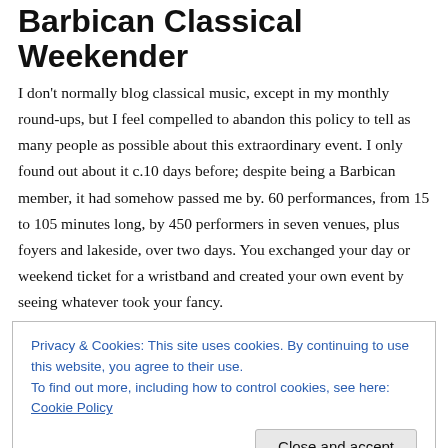Barbican Classical Weekender
I don't normally blog classical music, except in my monthly round-ups, but I feel compelled to abandon this policy to tell as many people as possible about this extraordinary event. I only found out about it c.10 days before; despite being a Barbican member, it had somehow passed me by. 60 performances, from 15 to 105 minutes long, by 450 performers in seven venues, plus foyers and lakeside, over two days. You exchanged your day or weekend ticket for a wristband and created your own event by seeing whatever took your fancy.
Privacy & Cookies: This site uses cookies. By continuing to use this website, you agree to their use.
To find out more, including how to control cookies, see here: Cookie Policy
as I walked over to the lovely St Giles Cripplegate for a recital